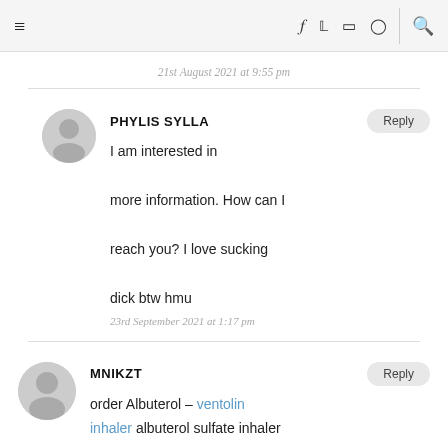≡  f  twitter  instagram  pinterest  🔍
21st August 2021 at 9:55 pm
PHYLIS SYLLA — I am interested in more information. How can I reach you? I love sucking dick btw hmu — 23rd September 2021 at 1:17 pm
MNIKZT — order Albuterol – ventolin inhaler albuterol sulfate inhaler